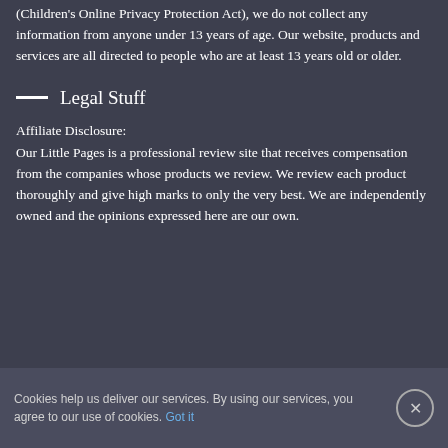(Children's Online Privacy Protection Act), we do not collect any information from anyone under 13 years of age. Our website, products and services are all directed to people who are at least 13 years old or older.
Legal Stuff
Affiliate Disclosure:
Our Little Pages is a professional review site that receives compensation from the companies whose products we review. We review each product thoroughly and give high marks to only the very best. We are independently owned and the opinions expressed here are our own.
Cookies help us deliver our services. By using our services, you agree to our use of cookies. Got it